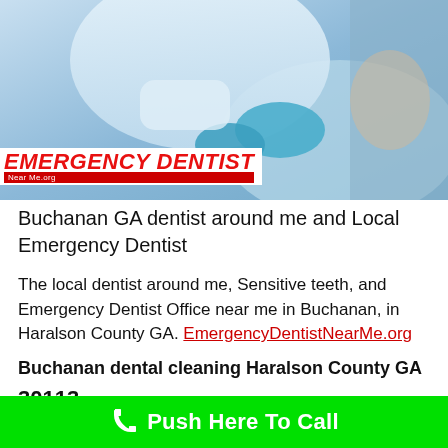[Figure (photo): Dental professional in blue gloves and white coat treating a patient in a dental chair, shown from above angle. Emergency Dentist Near Me logo overlay in bottom-left of image.]
Buchanan GA dentist around me and Local Emergency Dentist
The local dentist around me, Sensitive teeth, and Emergency Dentist Office near me in Buchanan, in Haralson County GA. EmergencyDentistNearMe.org
Buchanan dental cleaning Haralson County GA
30113
Push Here To Call